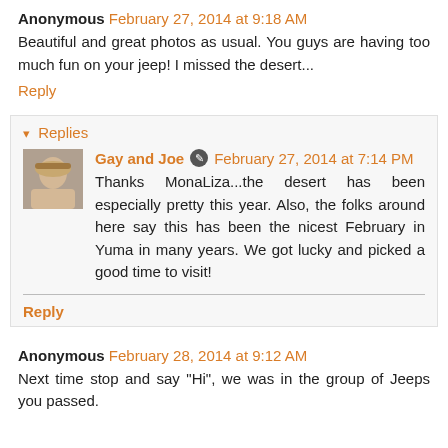Anonymous February 27, 2014 at 9:18 AM
Beautiful and great photos as usual. You guys are having too much fun on your jeep! I missed the desert...
Reply
Replies
Gay and Joe February 27, 2014 at 7:14 PM
Thanks MonaLiza...the desert has been especially pretty this year. Also, the folks around here say this has been the nicest February in Yuma in many years. We got lucky and picked a good time to visit!
Reply
Anonymous February 28, 2014 at 9:12 AM
Next time stop and say "Hi", we was in the group of Jeeps you passed.